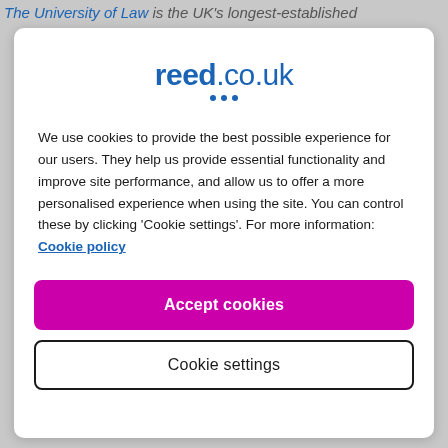The University of Law is the UK's longest-established
[Figure (logo): reed.co.uk logo with blue text and three blue dots below]
We use cookies to provide the best possible experience for our users. They help us provide essential functionality and improve site performance, and allow us to offer a more personalised experience when using the site. You can control these by clicking 'Cookie settings'. For more information: Cookie policy
Accept cookies
Cookie settings